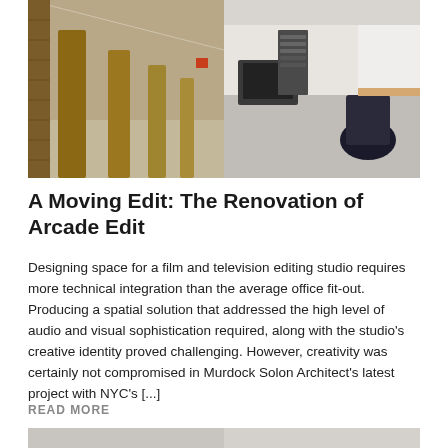[Figure (photo): Interior corridor of Arcade Edit office renovation showing warm wood-paneled columns on the left and a modern editing workstation area on the right, with concrete floors and clean white walls.]
A Moving Edit: The Renovation of Arcade Edit
Designing space for a film and television editing studio requires more technical integration than the average office fit-out. Producing a spatial solution that addressed the high level of audio and visual sophistication required, along with the studio's creative identity proved challenging. However, creativity was certainly not compromised in Murdock Solon Architect's latest project with NYC's [...]
READ MORE
[Figure (photo): Partial view of another interior space, bottom of page.]